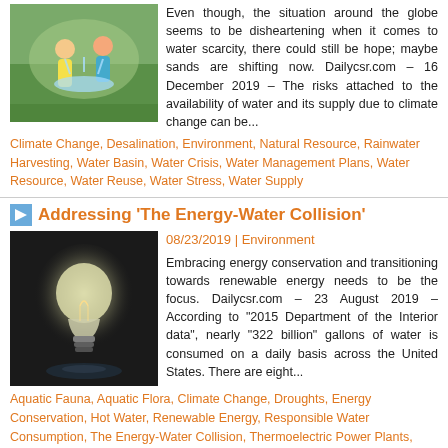[Figure (photo): Children playing with water outdoors, green/nature background]
Even though, the situation around the globe seems to be disheartening when it comes to water scarcity, there could still be hope; maybe sands are shifting now. Dailycsr.com – 16 December 2019 – The risks attached to the availability of water and its supply due to climate change can be...
Climate Change, Desalination, Environment, Natural Resource, Rainwater Harvesting, Water Basin, Water Crisis, Water Management Plans, Water Resource, Water Reuse, Water Stress, Water Supply
Addressing 'The Energy-Water Collision'
08/23/2019 | Environment
[Figure (photo): Black and white photo of a lightbulb]
Embracing energy conservation and transitioning towards renewable energy needs to be the focus. Dailycsr.com – 23 August 2019 – According to "2015 Department of the Interior data", nearly "322 billion" gallons of water is consumed on a daily basis across the United States. There are eight...
Aquatic Fauna, Aquatic Flora, Climate Change, Droughts, Energy Conservation, Hot Water, Renewable Energy, Responsible Water Consumption, The Energy-Water Collision, Thermoelectric Power Plants, Transition, Union of Concerned Scientists, Water Challenges, Water Consumption